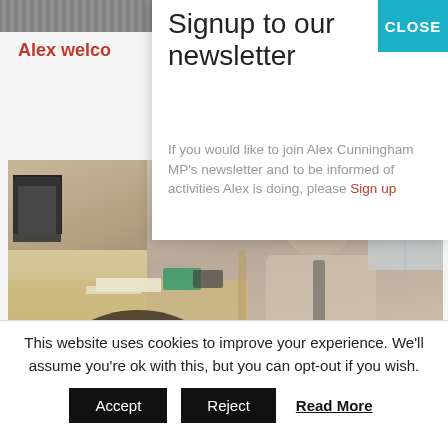[Figure (screenshot): Partial website screenshot showing top strip of a building image and partial red text 'Alex welco' visible behind a newsletter modal overlay, with a photo of a man (Alex Cunningham MP) sitting at an office desk below]
Signup to our newsletter
If you would like to join Alex Cunningham MP's newsletter and to be informed of activities Alex is doing, please Sign up
This website uses cookies to improve your experience. We'll assume you're ok with this, but you can opt-out if you wish.
Accept  Reject  Read More